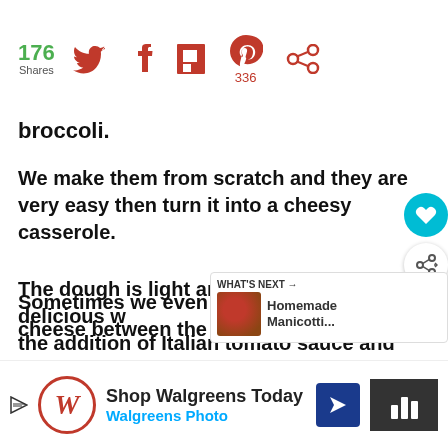176 Shares [Twitter] [Facebook] [Flipboard] [Pinterest 336] [Other]
broccoli.
We make them from scratch and they are very easy then turn it into a cheesy casserole.
The dough is light and the pasta is very delicious with the addition of Italian tomato sauce and baked in the oven smothered in melted mozzarella cheese.
Sometimes we even layer it with ricotta cheese between the
[Figure (screenshot): WHAT'S NEXT arrow panel showing Homemade Manicotti... with a food thumbnail image]
[Figure (screenshot): Advertisement banner: Shop Walgreens Today - Walgreens Photo, with Walgreens W logo, navigation arrow icon, and video bar icon]